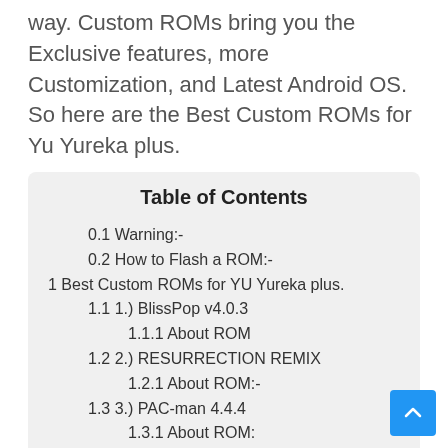way. Custom ROMs bring you the Exclusive features, more Customization, and Latest Android OS. So here are the Best Custom ROMs for Yu Yureka plus.
| Table of Contents |
| --- |
| 0.1 Warning:- |
| 0.2 How to Flash a ROM:- |
| 1 Best Custom ROMs for YU Yureka plus. |
| 1.1 1.) BlissPop v4.0.3 |
| 1.1.1 About ROM |
| 1.2 2.) RESURRECTION REMIX |
| 1.2.1 About ROM:- |
| 1.3 3.) PAC-man 4.4.4 |
| 1.3.1 About ROM: |
| 1.4 4.) IzerHD V1 5.1.1 |
| 1.4.1 About ROM: |
| 1.5 5.) MIUI v7 LOLLIPOP |